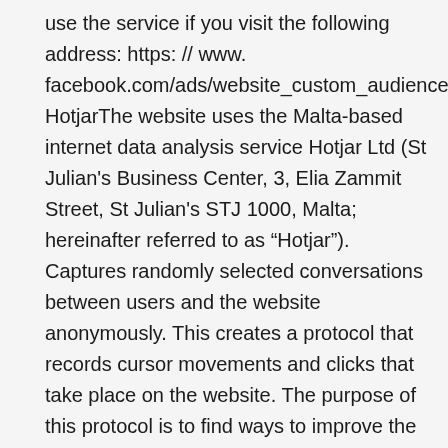use the service if you visit the following address: https: // www. facebook.com/ads/website_custom_audiences. HotjarThe website uses the Malta-based internet data analysis service Hotjar Ltd (St Julian's Business Center, 3, Elia Zammit Street, St Julian's STJ 1000, Malta; hereinafter referred to as “Hotjar”). Captures randomly selected conversations between users and the website anonymously. This creates a protocol that records cursor movements and clicks that take place on the website. The purpose of this protocol is to find ways to improve the relevant website. In order to assure that any personal relevant report will not be part of this protocol, the IP addresses used are anonymously stored and processed. In addition, statistical research